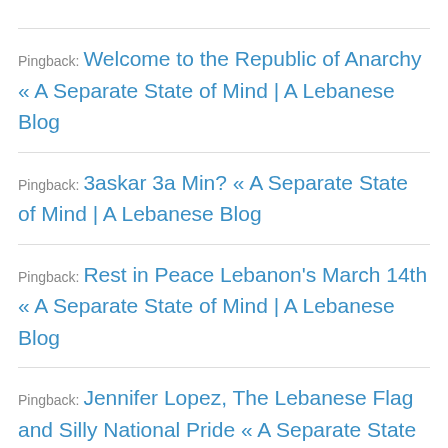Pingback: Welcome to the Republic of Anarchy « A Separate State of Mind | A Lebanese Blog
Pingback: 3askar 3a Min? « A Separate State of Mind | A Lebanese Blog
Pingback: Rest in Peace Lebanon's March 14th « A Separate State of Mind | A Lebanese Blog
Pingback: Jennifer Lopez, The Lebanese Flag and Silly National Pride « A Separate State of Mind | A Lebanese Blog
Pingback: Why #ThankBassil Backfired | A Separate